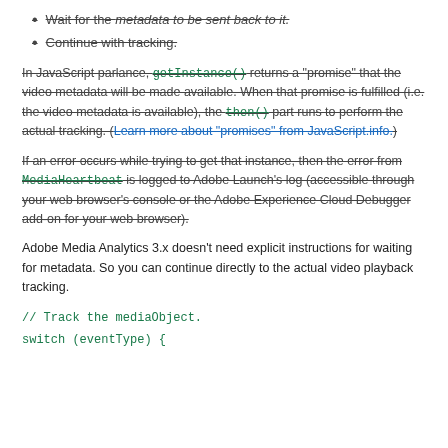Wait for the metadata to be sent back to it.
Continue with tracking.
In JavaScript parlance, getInstance() returns a "promise" that the video metadata will be made available. When that promise is fulfilled (i.e. the video metadata is available), the then() part runs to perform the actual tracking. (Learn more about "promises" from JavaScript.info.)
If an error occurs while trying to get that instance, then the error from MediaHeartbeat is logged to Adobe Launch's log (accessible through your web browser's console or the Adobe Experience Cloud Debugger add-on for your web browser).
Adobe Media Analytics 3.x doesn't need explicit instructions for waiting for metadata. So you can continue directly to the actual video playback tracking.
// Track the mediaObject.
switch (eventType) {